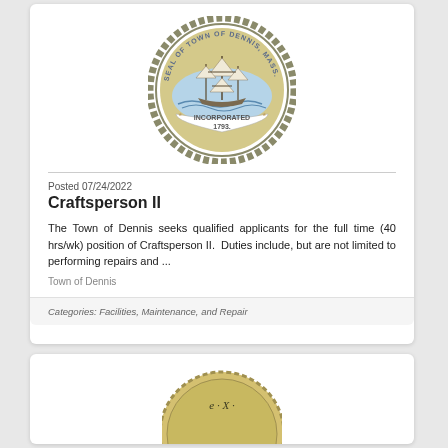[Figure (logo): Seal of the Town of Dennis, Massachusetts. Circular seal with a sailing ship in the center, text reading SEAL OF TOWN OF DENNIS, MASS. around the top, and INCORPORATED 1793. at the bottom, surrounded by a chain border.]
Posted 07/24/2022
Craftsperson II
The Town of Dennis seeks qualified applicants for the full time (40 hrs/wk) position of Craftsperson II. Duties include, but are not limited to performing repairs and ...
Town of Dennis
Categories: Facilities, Maintenance, and Repair
[Figure (logo): Partial view of another circular seal/logo at the bottom of the page, only the top portion visible.]